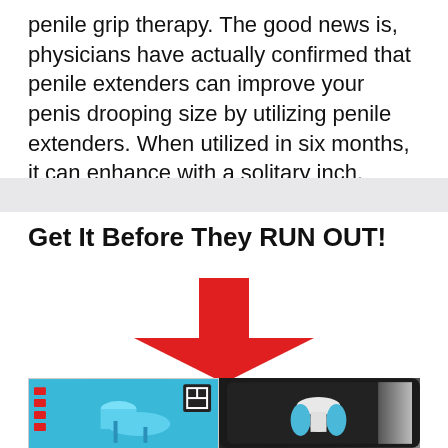penile grip therapy. The good news is, physicians have actually confirmed that penile extenders can improve your penis drooping size by utilizing penile extenders. When utilized in six months, it can enhance with a solitary inch.
Get It Before They RUN OUT!
[Figure (illustration): A large red downward-pointing arrow above two product images showing penile extender devices on blue and black backgrounds.]